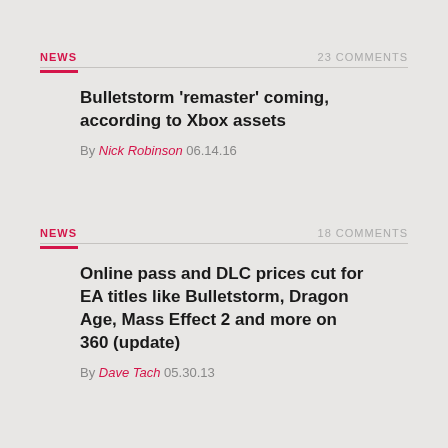NEWS   23 COMMENTS
Bulletstorm 'remaster' coming, according to Xbox assets
By Nick Robinson 06.14.16
NEWS   18 COMMENTS
Online pass and DLC prices cut for EA titles like Bulletstorm, Dragon Age, Mass Effect 2 and more on 360 (update)
By Dave Tach 05.30.13